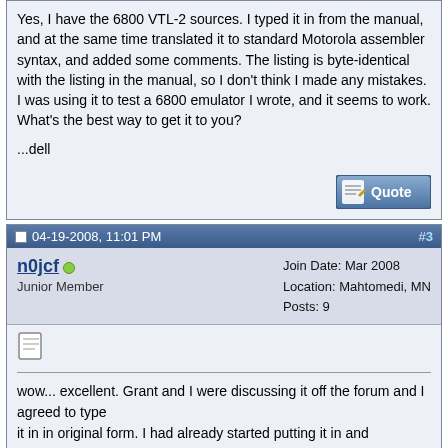Yes, I have the 6800 VTL-2 sources. I typed it in from the manual, and at the same time translated it to standard Motorola assembler syntax, and added some comments. The listing is byte-identical with the listing in the manual, so I don't think I made any mistakes. I was using it to test a 6800 emulator I wrote, and it seems to work. What's the best way to get it to you?

...dell
[Figure (screenshot): Quote button with pencil/paper icon]
04-19-2008, 11:01 PM   #3
n0jcf  Junior Member   Join Date: Mar 2008  Location: Mahtomedi, MN  Posts: 9
wow... excellent. Grant and I were discussing it off the forum and I agreed to type
it in in original form. I had already started putting it in and converting it to standard
Moto assembly as I went (which you have already apparently done). I would take
a copy of what you have and then I will volunteer to type in the original stuff in the
macro syntax that was originally used and then make it available here. It might be